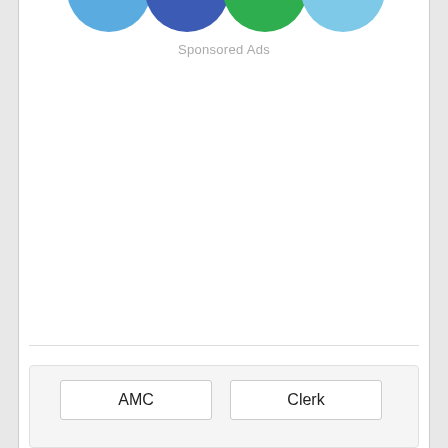[Figure (illustration): Four partially visible circular icons at the top: light blue, dark blue/indigo, green, and light blue, representing social media or app icons, partially cropped at the top edge.]
Sponsored Ads
[Figure (other): White empty space area below sponsored ads label.]
| AMC | Clerk |
| --- | --- |